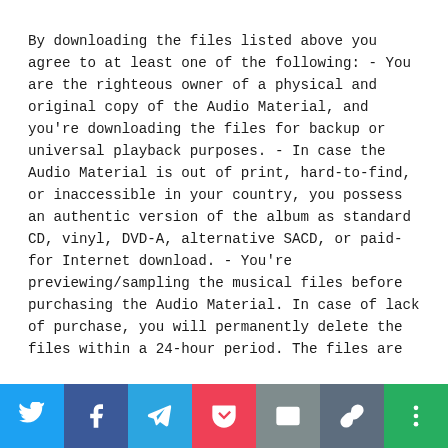By downloading the files listed above you agree to at least one of the following: - You are the righteous owner of a physical and original copy of the Audio Material, and you're downloading the files for backup or universal playback purposes. - In case the Audio Material is out of print, hard-to-find, or inaccessible in your country, you possess an authentic version of the album as standard CD, vinyl, DVD-A, alternative SACD, or paid-for Internet download. - You're previewing/sampling the musical files before purchasing the Audio Material. In case of lack of purchase, you will permanently delete the files within a 24-hour period. The files are
[Figure (infographic): Social sharing bar with 7 buttons: Twitter (light blue), Facebook (dark blue), Telegram (sky blue), Pocket (red), Email (grey), Link/Copy (dark grey), More (green). Each button shows a white icon.]